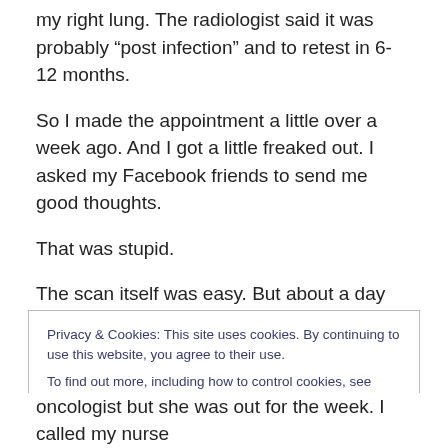my right lung.  The radiologist said it was probably “post infection” and to retest in 6-12 months.
So I made the appointment a little over a week ago.  And I got a little freaked out.  I asked my Facebook friends to send me good thoughts.
That was stupid.
The scan itself was easy.  But about a day later, I got a message on my cell from my surgeon saying that the nodules were “more prominent”.
Privacy & Cookies: This site uses cookies. By continuing to use this website, you agree to their use.
To find out more, including how to control cookies, see here: Cookie Policy
oncologist but she was out for the week.  I called my nurse